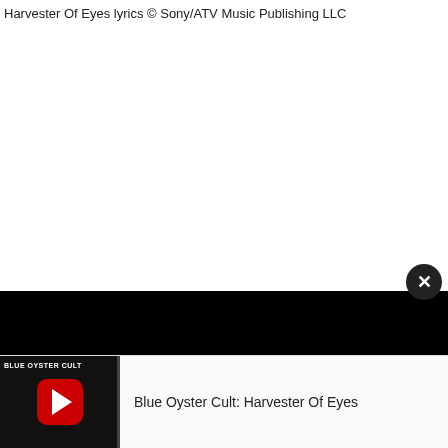Harvester Of Eyes lyrics © Sony/ATV Music Publishing LLC
[Figure (screenshot): Black bar UI element indicating a media player or popup]
[Figure (screenshot): Close button (X) in dark circle in upper right of media popup]
[Figure (screenshot): Video thumbnail showing Blue Oyster Cult album art with YouTube play button]
Blue Oyster Cult: Harvester Of Eyes